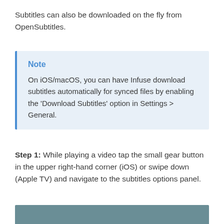Subtitles can also be downloaded on the fly from OpenSubtitles.
Note
On iOS/macOS, you can have Infuse download subtitles automatically for synced files by enabling the 'Download Subtitles' option in Settings > General.
Step 1: While playing a video tap the small gear button in the upper right-hand corner (iOS) or swipe down (Apple TV) and navigate to the subtitles options panel.
[Figure (screenshot): Partial screenshot showing a dark teal/grey interface panel at the bottom of the page]